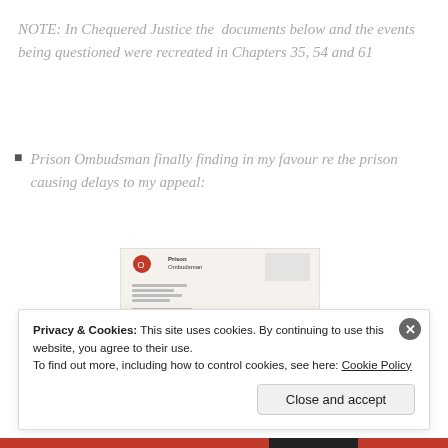NOTE: In Chequered Justice the documents below and the events being questioned were recreated in Chapters 35, 54 and 61
Prison Ombudsman finally finding in my favour re the prison causing delays to my appeal:
[Figure (photo): A scanned letter from the Prison Ombudsman with logo visible at top left]
Privacy & Cookies: This site uses cookies. By continuing to use this website, you agree to their use.
To find out more, including how to control cookies, see here: Cookie Policy